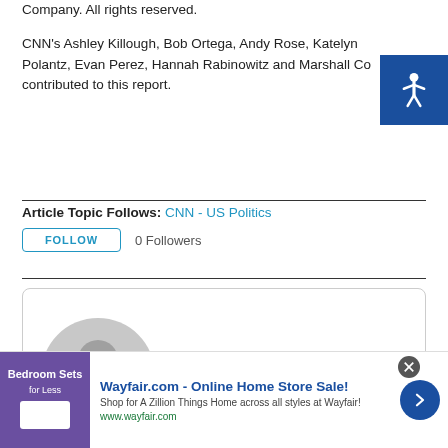Company. All rights reserved.

CNN's Ashley Killough, Bob Ortega, Andy Rose, Katelyn Polantz, Evan Perez, Hannah Rabinowitz and Marshall Co contributed to this report.
Article Topic Follows: CNN - US Politics
FOLLOW   0 Followers
[Figure (illustration): CNN Newsource author profile card with grey default avatar icon and bold name text 'CNN Newsource']
[Figure (infographic): Wayfair.com advertisement banner: 'Wayfair.com - Online Home Store Sale! Shop for A Zillion Things Home across all styles at Wayfair! www.wayfair.com' with product image and blue arrow button]